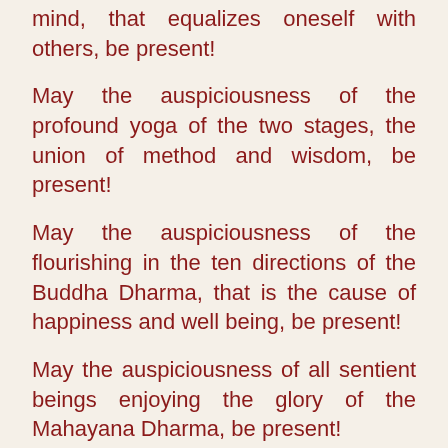mind, that equalizes oneself with others, be present!
May the auspiciousness of the profound yoga of the two stages, the union of method and wisdom, be present!
May the auspiciousness of the flourishing in the ten directions of the Buddha Dharma, that is the cause of happiness and well being, be present!
May the auspiciousness of all sentient beings enjoying the glory of the Mahayana Dharma, be present!
In this way, embellish the end of the session.
May all sentient beings be ripened and liberated
By the yoga of the heart drop,